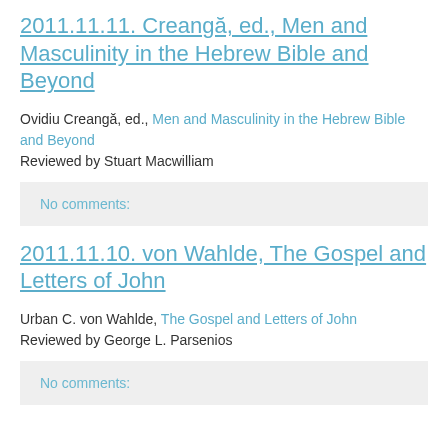2011.11.11. Creangă, ed., Men and Masculinity in the Hebrew Bible and Beyond
Ovidiu Creangă, ed., Men and Masculinity in the Hebrew Bible and Beyond
Reviewed by Stuart Macwilliam
No comments:
2011.11.10. von Wahlde, The Gospel and Letters of John
Urban C. von Wahlde, The Gospel and Letters of John
Reviewed by George L. Parsenios
No comments: